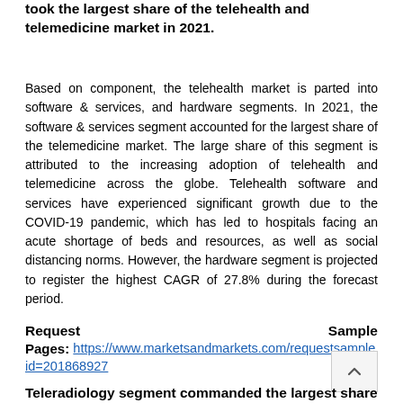took the largest share of the telehealth and telemedicine market in 2021.
Based on component, the telehealth market is parted into software & services, and hardware segments. In 2021, the software & services segment accounted for the largest share of the telemedicine market. The large share of this segment is attributed to the increasing adoption of telehealth and telemedicine across the globe. Telehealth software and services have experienced significant growth due to the COVID-19 pandemic, which has led to hospitals facing an acute shortage of beds and resources, as well as social distancing norms. However, the hardware segment is projected to register the highest CAGR of 27.8% during the forecast period.
Request Sample Pages: https://www.marketsandmarkets.com/requestsample id=201868927
Teleradiology segment commanded the largest share